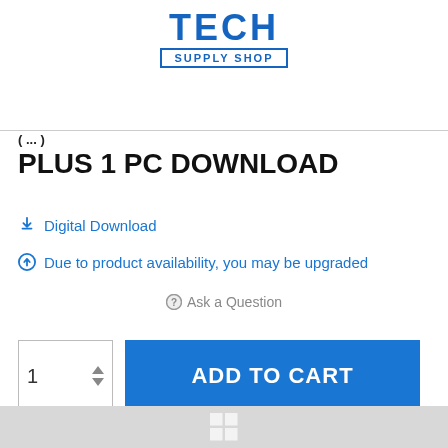[Figure (logo): Tech Supply Shop logo — TECH in large bold blue letters above a bordered 'SUPPLY SHOP' text]
PLUS 1 PC DOWNLOAD
Digital Download
Due to product availability, you may be upgraded
Ask a Question
1  ADD TO CART
$29.99
[Figure (screenshot): Bottom grey strip with Windows logo icon]